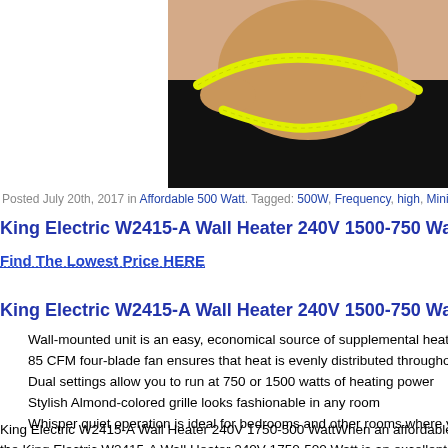[Figure (photo): Cropped photo of a person's midsection wearing black clothing, with a yellow measuring tape wrapped around them. Only the torso and hands are visible, photo cropped at edges.]
Posted July 20th, 2017 in Affordable 500 Watt. Tagged: 500W, Frequency, high, Mini
King Electric W2415-A Wall Heater 240V 1500-750 Watt
Find The Lowest Price HERE
King Electric W2415-A Wall Heater 240V 1500-750 Watt
Wall-mounted unit is an easy, economical source of supplemental heat
85 CFM four-blade fan ensures that heat is evenly distributed throughout spac
Dual settings allow you to run at 750 or 1500 watts of heating power
Stylish Almond-colored grille looks fashionable in any room
Whisper quiet operation is ideal for bedrooms and other rooms where you war
King Electric W2415-A Wall Heater 240V 1750-500 WattWhen an affordable source o
the King Electric W2415-A Wall Heater 240V 1750-500 Watt is an excellent optio